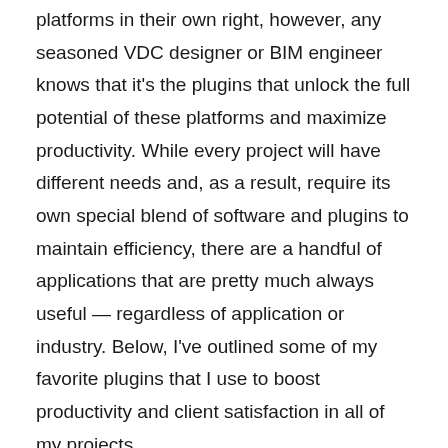platforms in their own right, however, any seasoned VDC designer or BIM engineer knows that it's the plugins that unlock the full potential of these platforms and maximize productivity. While every project will have different needs and, as a result, require its own special blend of software and plugins to maintain efficiency, there are a handful of applications that are pretty much always useful — regardless of application or industry. Below, I've outlined some of my favorite plugins that I use to boost productivity and client satisfaction in all of my projects.
1. Flux
Flux is an application that aims to consolidate design